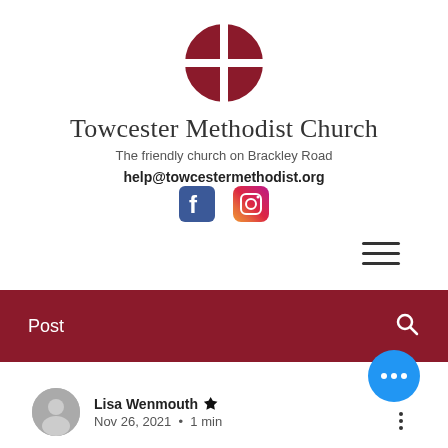[Figure (logo): Towcester Methodist Church logo: a circle divided into four quadrants, alternating dark red and white/light segments forming a cross pattern]
Towcester Methodist Church
The friendly church on Brackley Road
help@towcestermethodist.org
[Figure (illustration): Facebook and Instagram social media icons side by side]
[Figure (illustration): Hamburger menu icon (three horizontal lines)]
Post
Lisa Wenmouth 👑
Nov 26, 2021 • 1 min